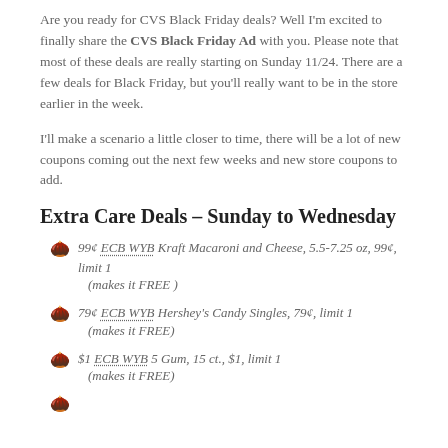Are you ready for CVS Black Friday deals? Well I'm excited to finally share the CVS Black Friday Ad with you. Please note that most of these deals are really starting on Sunday 11/24. There are a few deals for Black Friday, but you'll really want to be in the store earlier in the week.
I'll make a scenario a little closer to time, there will be a lot of new coupons coming out the next few weeks and new store coupons to add.
Extra Care Deals – Sunday to Wednesday
99¢ ECB WYB Kraft Macaroni and Cheese, 5.5-7.25 oz, 99¢, limit 1
(makes it FREE )
79¢ ECB WYB Hershey's Candy Singles, 79¢, limit 1
(makes it FREE)
$1 ECB WYB 5 Gum, 15 ct., $1, limit 1
(makes it FREE)